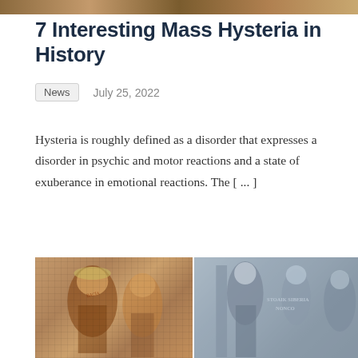[Figure (photo): Decorative image strip at top of page]
7 Interesting Mass Hysteria in History
News    July 25, 2022
Hysteria is roughly defined as a disorder that expresses a disorder in psychic and motor reactions and a state of exuberance in emotional reactions. The [...]
Continue reading »
[Figure (photo): Two historical images side by side: left shows a Roman mosaic with figures, right shows a classical painting with standing figures]